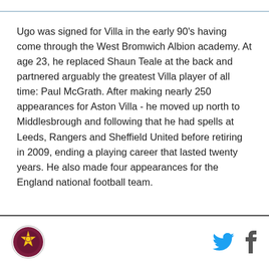Ugo was signed for Villa in the early 90's having come through the West Bromwich Albion academy. At age 23, he replaced Shaun Teale at the back and partnered arguably the greatest Villa player of all time: Paul McGrath. After making nearly 250 appearances for Aston Villa - he moved up north to Middlesbrough and following that he had spells at Leeds, Rangers and Sheffield United before retiring in 2009, ending a playing career that lasted twenty years. He also made four appearances for the England national football team.
[Figure (logo): Circular club badge logo with maroon and gold star design]
[Figure (illustration): Twitter bird icon in blue and Facebook f icon in dark grey]